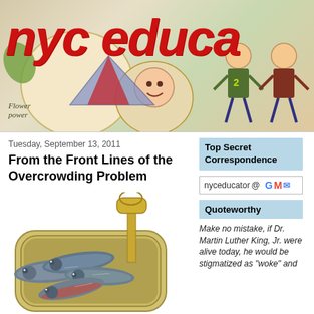[Figure (illustration): NYC Educator blog header banner with children's artwork background showing cartoon figures, and handwritten red text reading 'nyc educa' (truncated)]
Tuesday, September 13, 2011
From the Front Lines of the Overcrowding Problem
[Figure (photo): Open tin can of sardines/anchovies packed tightly together, with a key opener attached]
Top Secret Correspondence
nyceducator @ Gmail
Quoteworthy
Make no mistake, if Dr. Martin Luther King, Jr. were alive today, he would be stigmatized as "woke" and